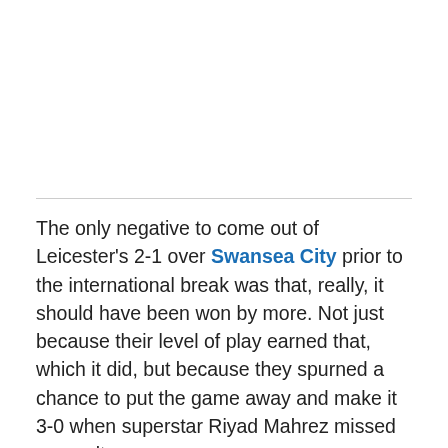The only negative to come out of Leicester's 2-1 over Swansea City prior to the international break was that, really, it should have been won by more. Not just because their level of play earned that, which it did, but because they spurned a chance to put the game away and make it 3-0 when superstar Riyad Mahrez missed a penalty.